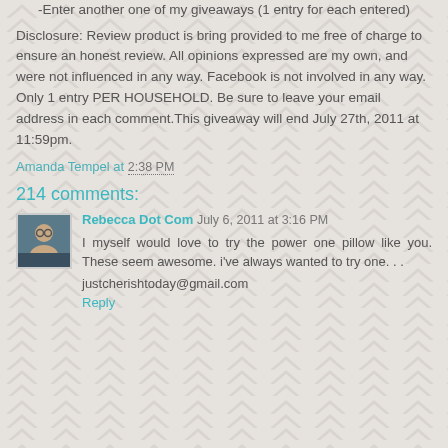-Enter another one of my giveaways (1 entry for each entered)
Disclosure: Review product is bring provided to me free of charge to ensure an honest review. All opinions expressed are my own, and were not influenced in any way. Facebook is not involved in any way. Only 1 entry PER HOUSEHOLD. Be sure to leave your email address in each comment.This giveaway will end July 27th, 2011 at 11:59pm.
Amanda Tempel at 2:38 PM
214 comments:
Rebecca Dot Com  July 6, 2011 at 3:16 PM
I myself would love to try the power one pillow like you. These seem awesome. i've always wanted to try one. . .
justcheristoday@gmail.com
Reply